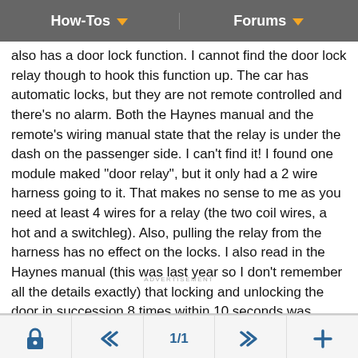How-Tos   Forums
also has a door lock function. I cannot find the door lock relay though to hook this function up. The car has automatic locks, but they are not remote controlled and there's no alarm. Both the Haynes manual and the remote's wiring manual state that the relay is under the dash on the passenger side. I can't find it! I found one module maked "door relay", but it only had a 2 wire harness going to it. That makes no sense to me as you need at least 4 wires for a relay (the two coil wires, a hot and a switchleg). Also, pulling the relay from the harness has no effect on the locks. I also read in the Haynes manual (this was last year so I don't remember all the details exactly) that locking and unlocking the door in succession 8 times within 10 seconds was supposed to make the relay beep or something. I tried this numerous times with no success. Is it possible that there's no door lock relay? If so, how do I hook it up to the remote? If there really is a door relay does anyone know exactly where it is?
1/1